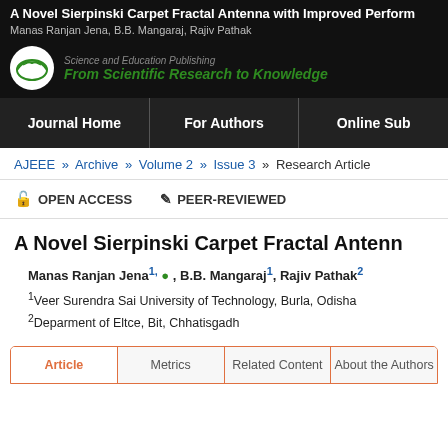A Novel Sierpinski Carpet Fractal Antenna with Improved Perform
Manas Ranjan Jena, B.B. Mangaraj, Rajiv Pathak
[Figure (logo): Publisher logo - open book icon in circle, with text 'Science and Education Publishing' and tagline 'From Scientific Research to Knowledge']
Journal Home | For Authors | Online Sub
AJEEE » Archive » Volume 2 » Issue 3 » Research Article
OPEN ACCESS   PEER-REVIEWED
A Novel Sierpinski Carpet Fractal Antenn
Manas Ranjan Jena1, , B.B. Mangaraj1, Rajiv Pathak2
1Veer Surendra Sai University of Technology, Burla, Odisha
2Deparment of Eltce, Bit, Chhatisgadh
Article | Metrics | Related Content | About the Authors